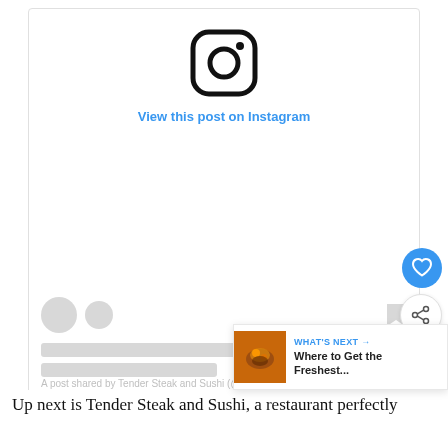[Figure (screenshot): Instagram embed placeholder with Instagram logo icon centered, 'View this post on Instagram' link in blue, gray placeholder UI elements (reaction row with gray circles, two gray text lines), and attribution text 'A post shared by Tender Steak and Sushi (@tenderst...)'. Floating blue heart FAB button and share FAB button on right edge. 'WHAT'S NEXT → Where to Get the Freshest...' overlay card at bottom right with food photo thumbnail.]
Up next is Tender Steak and Sushi, a restaurant perfectly